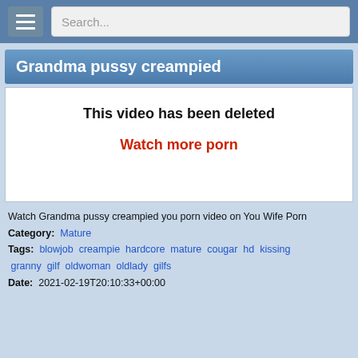Search...
Grandma pussy creampied
This video has been deleted
Watch more porn
Watch Grandma pussy creampied you porn video on You Wife Porn
Category: Mature
Tags: blowjob creampie hardcore mature cougar hd kissing granny gilf oldwoman oldlady gilfs
Date: 2021-02-19T20:10:33+00:00